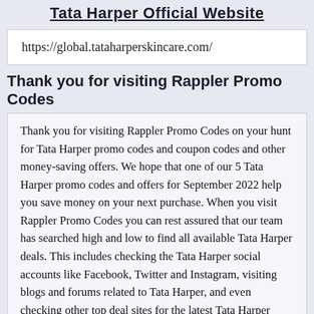Tata Harper Official Website
https://global.tataharperskincare.com/
Thank you for visiting Rappler Promo Codes
Thank you for visiting Rappler Promo Codes on your hunt for Tata Harper promo codes and coupon codes and other money-saving offers. We hope that one of our 5 Tata Harper promo codes and offers for September 2022 help you save money on your next purchase. When you visit Rappler Promo Codes you can rest assured that our team has searched high and low to find all available Tata Harper deals. This includes checking the Tata Harper social accounts like Facebook, Twitter and Instagram, visiting blogs and forums related to Tata Harper, and even checking other top deal sites for the latest Tata Harper promo codes.